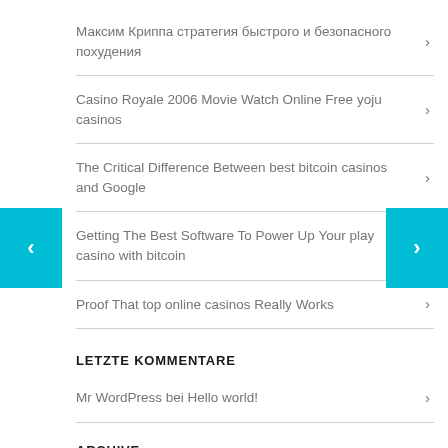Максим Криппа стратегия быстрого и безопасного похудения
Casino Royale 2006 Movie Watch Online Free yoju casinos
The Critical Difference Between best bitcoin casinos and Google
Getting The Best Software To Power Up Your play casino with bitcoin
Proof That top online casinos Really Works
LETZTE KOMMENTARE
Mr WordPress bei Hello world!
ARCHIVE